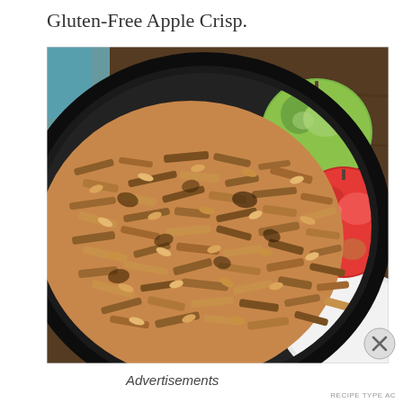Gluten-Free Apple Crisp.
[Figure (photo): A cast iron skillet filled with golden-brown oat crumble topping (apple crisp), with a green apple and a red apple visible in the upper right corner on a dark wooden surface. A white plate edge is visible at the bottom right.]
Advertisements
RECIPE TYPE AC